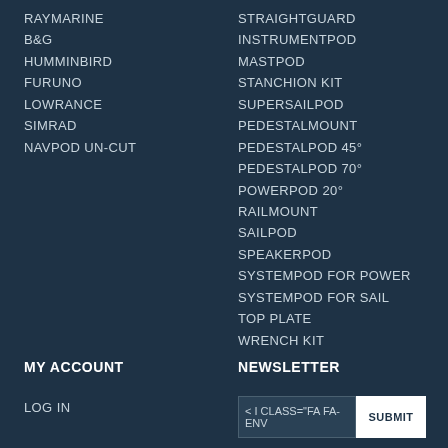RAYMARINE
B&G
HUMMINBIRD
FURUNO
LOWRANCE
SIMRAD
NAVPOD UN-CUT
STRAIGHTGUARD
INSTRUMENTPOD
MASTPOD
STANCHION KIT
SUPERSAILPOD
PEDESTALMOUNT
PEDESTALPOD 45°
PEDESTALPOD 70°
POWERPOD 20°
RAILMOUNT
SAILPOD
SPEAKERPOD
SYSTEMPOD FOR POWER
SYSTEMPOD FOR SAIL
TOP PLATE
WRENCH KIT
MY ACCOUNT
NEWSLETTER
LOG IN
< I CLASS="FA FA-ENV  SUBMIT